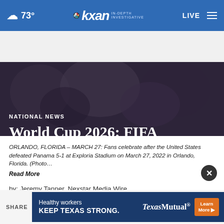☁ 73° | kxan IN-DEPTH INVESTIGATIVE | LIVE ≡
[Figure (photo): Hero image of soccer fans celebrating, overlaid with dark gradient. Shows section label NATIONAL NEWS and headline.]
NATIONAL NEWS
World Cup 2026: FIFA announces U.S. host cities
ORLANDO, FLORIDA – MARCH 27: Fans celebrate after the United States defeated Panama 5-1 at Exploria Stadium on March 27, 2022 in Orlando, Florida. (Photo… Read More
by: Jeremy Tanner, Nexstar Media Wire
Posted: Jun 16, 2022 / 05:12 PM CDT
Updated: Jun 16, 2022 / 05:38 PM CDT
[Figure (infographic): Texas Mutual advertisement banner: 'Healthy workers KEEP TEXAS STRONG. Texas Mutual Learn More']
SHARE